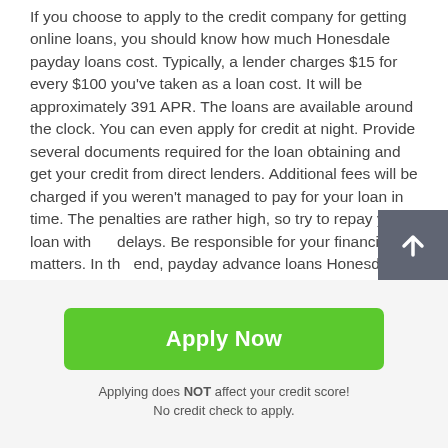If you choose to apply to the credit company for getting online loans, you should know how much Honesdale payday loans cost. Typically, a lender charges $15 for every $100 you've taken as a loan cost. It will be approximately 391 APR. The loans are available around the clock. You can even apply for credit at night. Provide several documents required for the loan obtaining and get your credit from direct lenders. Additional fees will be charged if you weren't managed to pay for your loan in time. The penalties are rather high, so try to repay your loan without delays. Be responsible for your financial matters. In the end, payday advance loans Honesdale of
[Figure (other): Dark grey square button with white upward arrow icon (scroll to top button)]
Apply Now
Applying does NOT affect your credit score! No credit check to apply.